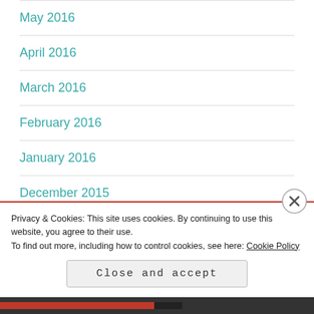May 2016
April 2016
March 2016
February 2016
January 2016
December 2015
November 2015
Privacy & Cookies: This site uses cookies. By continuing to use this website, you agree to their use. To find out more, including how to control cookies, see here: Cookie Policy
Close and accept